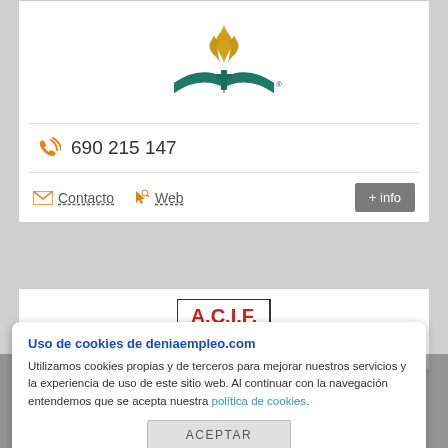[Figure (logo): Seventh-day Adventist Church logo: golden flame above an open teal book with a cross]
690 215 147
Contacto   Web
+ info
[Figure (logo): A.C.I.F. logo with red text and green tree image]
Uso de cookies de deniaempleo.com
Utilizamos cookies propias y de terceros para mejorar nuestros servicios y la experiencia de uso de este sitio web. Al continuar con la navegación entendemos que se acepta nuestra política de cookies.
ACEPTAR